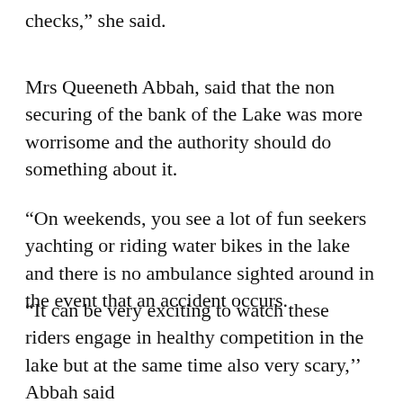checks,” she said.
Mrs Queeneth Abbah, said that the non securing of the bank of the Lake was more worrisome and the authority should do something about it.
“On weekends, you see a lot of fun seekers yachting or riding water bikes in the lake and there is no ambulance sighted around in the event that an accident occurs.
“It can be very exciting to watch these riders engage in healthy competition in the lake but at the same time also very scary,”’’ Abbah said